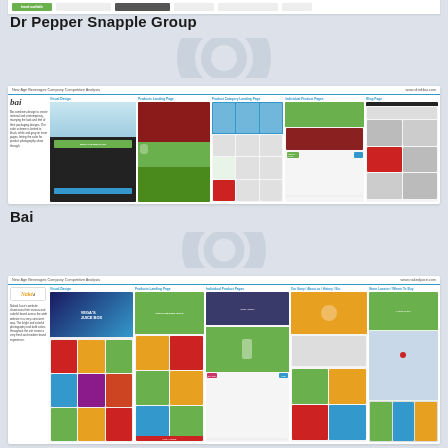[Figure (screenshot): Partially visible competitive analysis card at the top of the page (cut off)]
Dr Pepper Snapple Group
[Figure (screenshot): Bai brand competitive analysis page showing Visual Design, Products Landing Page, Product Category Landing Page, Individual Product Pages, Blog Page sections with website screenshots]
Bai
[Figure (screenshot): Naked Juice competitive analysis page showing Visual Design, Products Landing Page, Individual Product Pages, Our Story/About us/History/Etc, Store Locator/Where To Buy sections with website screenshots]